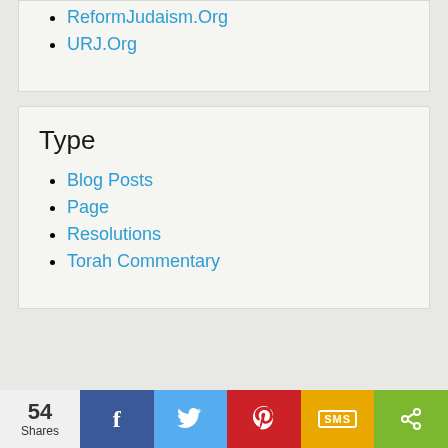ReformJudaism.Org
URJ.Org
Type
Blog Posts
Page
Resolutions
Torah Commentary
54 Shares